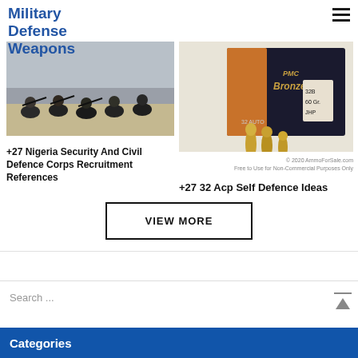Military Defense Weapons
[Figure (photo): Group of soldiers or security personnel crouching outdoors]
+27 Nigeria Security And Civil Defence Corps Recruitment References
[Figure (photo): Box of PMC Bronze 32 Auto 60 Gr. JHP ammunition with bullets in front, watermarked 2020 AmmoForSale.com]
© 2020 AmmoForSale.com
Free to Use for Non-Commercial Purposes Only
+27 32 Acp Self Defence Ideas
VIEW MORE
Search ...
Categories